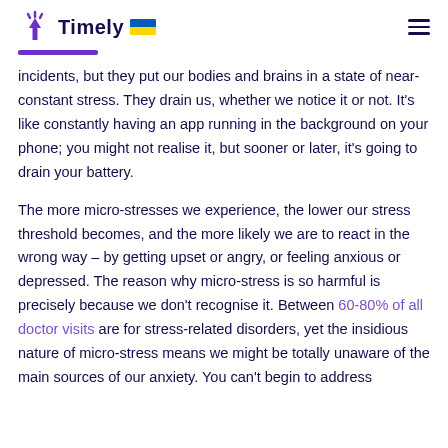Timely
incidents, but they put our bodies and brains in a state of near-constant stress. They drain us, whether we notice it or not. It’s like constantly having an app running in the background on your phone; you might not realise it, but sooner or later, it’s going to drain your battery.
The more micro-stresses we experience, the lower our stress threshold becomes, and the more likely we are to react in the wrong way – by getting upset or angry, or feeling anxious or depressed. The reason why micro-stress is so harmful is precisely because we don’t recognise it. Between 60-80% of all doctor visits are for stress-related disorders, yet the insidious nature of micro-stress means we might be totally unaware of the main sources of our anxiety. You can’t begin to address